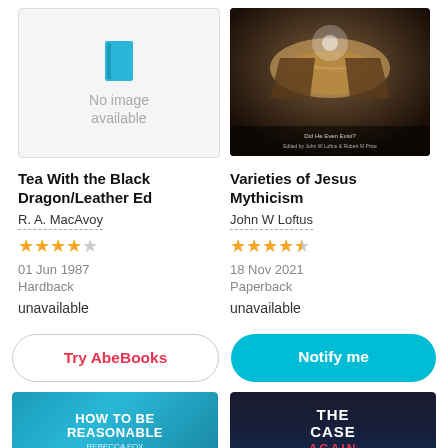[Figure (illustration): Book cover placeholder with blue book icon and 'No image available' text]
[Figure (photo): Book cover for 'Varieties of Jesus Mythicism' with dark nativity scene image]
Tea With the Black Dragon/Leather Ed
R. A. MacAvoy
★★★★☆ (4 stars)
01 Jun 1987
Hardback
unavailable
Varieties of Jesus Mythicism
John W Loftus
★★★★½ (4.5 stars)
18 Nov 2021
Paperback
unavailable
Try AbeBooks
Notify me
[Figure (illustration): Book cover for 'How to Be Reasonable' by Rebecca Fox with teal background]
[Figure (illustration): Book cover for 'The Case Against' with dark blue background and red text]